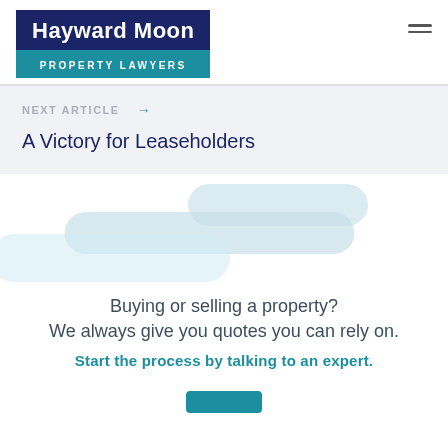Hayward Moon PROPERTY LAWYERS
NEXT ARTICLE →
A Victory for Leaseholders
[Figure (illustration): Decorative light blue rounded blob shapes used as background design element]
Buying or selling a property?
We always give you quotes you can rely on.
Start the process by talking to an expert.